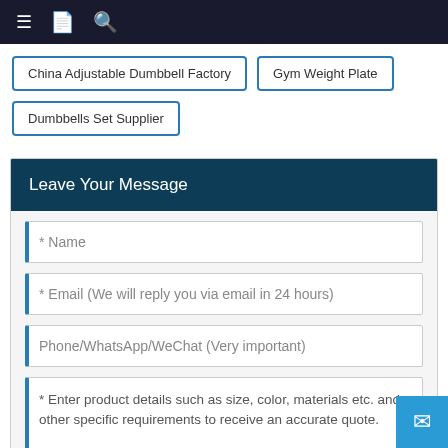≡ 🖹 🔍
China Adjustable Dumbbell Factory
Gym Weight Plate
Dumbbells Set Supplier
Leave Your Message
* Name
* Email (We will reply you via email in 24 hours)
Phone/WhatsApp/WeChat (Very important)
* Enter product details such as size, color, materials etc. and other specific requirements to receive an accurate quote.